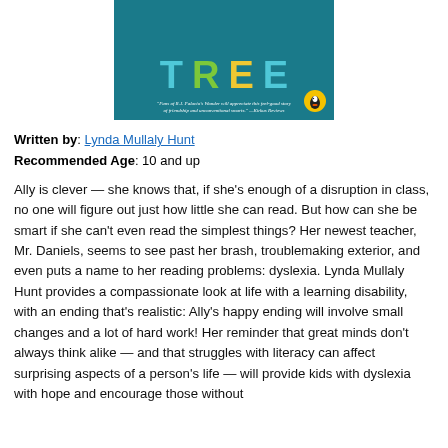[Figure (illustration): Book cover of 'Fish in a Tree' showing the word TREE in large colorful letter blocks (teal, green, yellow) on a teal background, with a quote: 'Fans of R.J. Palacio's Wonder will appreciate this feel-good story of friendship and unconventional smarts.' —Kirkus Reviews, and a Puffin logo badge.]
Written by: Lynda Mullaly Hunt
Recommended Age: 10 and up
Ally is clever — she knows that, if she's enough of a disruption in class, no one will figure out just how little she can read. But how can she be smart if she can't even read the simplest things? Her newest teacher, Mr. Daniels, seems to see past her brash, troublemaking exterior, and even puts a name to her reading problems: dyslexia. Lynda Mullaly Hunt provides a compassionate look at life with a learning disability, with an ending that's realistic: Ally's happy ending will involve small changes and a lot of hard work! Her reminder that great minds don't always think alike — and that struggles with literacy can affect surprising aspects of a person's life — will provide kids with dyslexia with hope and encourage those without to the strength to change some of the challenges they encounter.